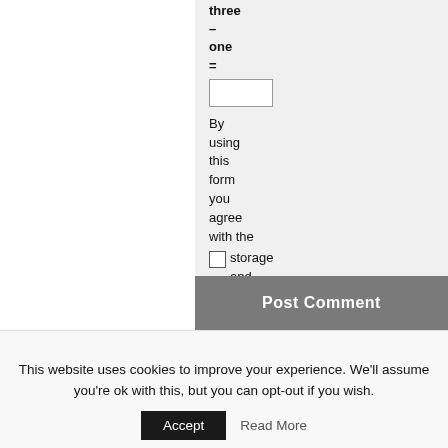three
–
one
=
[Figure (screenshot): An input text box (form field) with a white background and gray border]
By using this form you agree with the storage and handling of your data by this website. * :::
[Figure (screenshot): A checkbox (unchecked) next to consent text about data storage]
Post Comment
This website uses cookies to improve your experience. We'll assume you're ok with this, but you can opt-out if you wish.
Accept  Read More